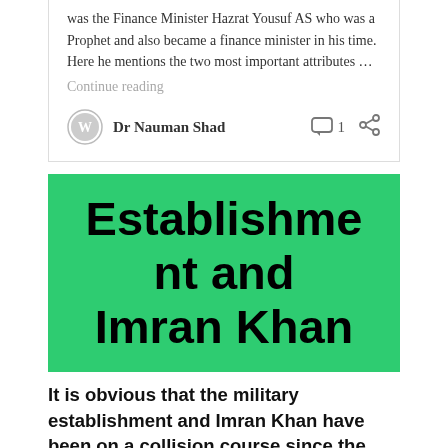was the Finance Minister Hazrat Yousuf AS who was a Prophet and also became a finance minister in his time. Here he mentions the two most important attributes …
Continue reading
Dr Nauman Shad
Establishment and Imran Khan
It is obvious that the military establishment and Imran Khan have been on a collision course since the last some months